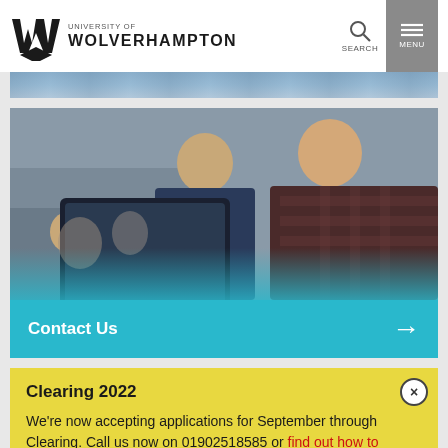University of Wolverhampton
[Figure (photo): Partial photo strip at top showing students]
[Figure (photo): Two students looking at a laptop or tablet screen together in a classroom setting]
Contact Us →
Clearing 2022
We're now accepting applications for September through Clearing. Call us now on 01902518585 or find out how to apply.